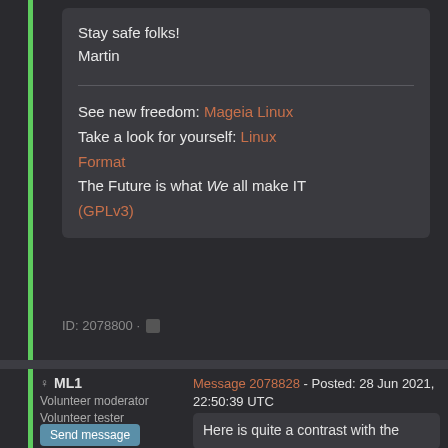Stay safe folks!
Martin
See new freedom: Mageia Linux
Take a look for yourself: Linux Format
The Future is what We all make IT (GPLv3)
ID: 2078800 ·
ML1
Volunteer moderator
Volunteer tester
Message 2078828 - Posted: 28 Jun 2021, 22:50:39 UTC
Here is quite a contrast with the